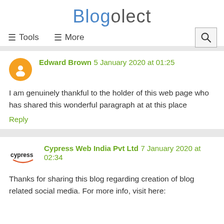Blogolect
≡ Tools   ≡ More
Edward Brown 5 January 2020 at 01:25
I am genuinely thankful to the holder of this web page who has shared this wonderful paragraph at at this place
Reply
Cypress Web India Pvt Ltd 7 January 2020 at 02:34
Thanks for sharing this blog regarding creation of blog related social media. For more info, visit here: